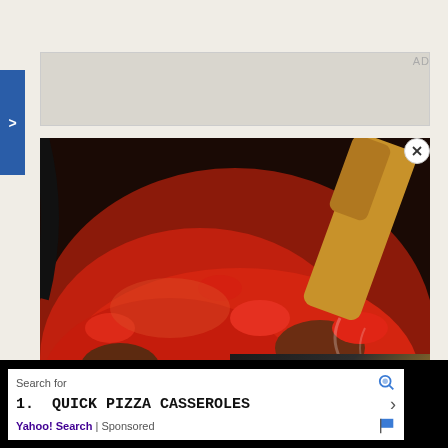[Figure (other): Gray advertisement banner placeholder with AD label in top right]
[Figure (photo): Close-up photo of red tomato meat sauce cooking in a dark pan, with a wooden spoon visible, steam rising]
[Figure (screenshot): Video overlay thumbnail showing 'pinch tips HOW TO GRATE CHEESE FOR EASY CLEAN UP' with play button, featuring yellow/orange grated cheese background]
[Figure (other): Bottom advertisement: Search for 1. QUICK PIZZA CASSEROLES Yahoo! Search | Sponsored]
Search for
1.  QUICK PIZZA CASSEROLES
Yahoo! Search | Sponsored
AD